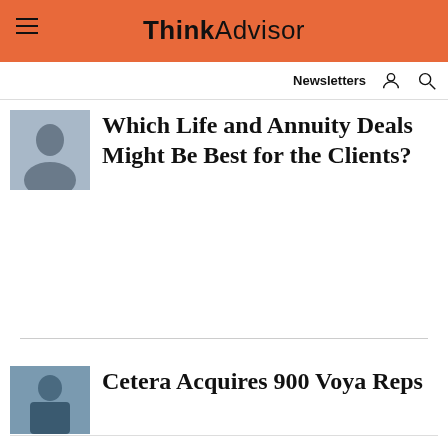ThinkAdvisor
Newsletters
Which Life and Annuity Deals Might Be Best for the Clients?
Cetera Acquires 900 Voya Reps